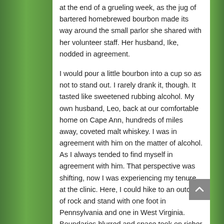at the end of a grueling week, as the jug of bartered homebrewed bourbon made its way around the small parlor she shared with her volunteer staff. Her husband, Ike, nodded in agreement.
I would pour a little bourbon into a cup so as not to stand out. I rarely drank it, though. It tasted like sweetened rubbing alcohol. My own husband, Leo, back at our comfortable home on Cape Ann, hundreds of miles away, coveted malt whiskey. I was in agreement with him on the matter of alcohol. As I always tended to find myself in agreement with him. That perspective was shifting, now I was experiencing my tenure at the clinic. Here, I could hike to an outcrop of rock and stand with one foot in Pennsylvania and one in West Virginia. Boundaries blurred and space took on richer personality, one that seemed to be affecting my own.